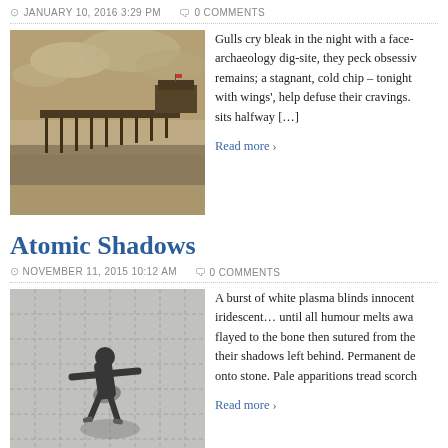JANUARY 10, 2016 3:29 PM   0 COMMENTS
[Figure (photo): Sepia-toned photograph of Brighton Pier extending over the sea, with moody sky]
Gulls cry bleak in the night with a face- archaeology dig-site, they peck obsessiv remains; a stagnant, cold chip – tonight with wings', help defuse their cravings. sits halfway [...]
Read more ›
Atomic Shadows
NOVEMBER 11, 2015 10:12 AM   0 COMMENTS
[Figure (photo): Black and white photograph of a person lying on a tiled floor viewed from above, with shadow]
A burst of white plasma blinds innocent iridescent… until all humour melts awa flayed to the bone then sutured from the their shadows left behind. Permanent de onto stone. Pale apparitions tread scorch
Read more ›